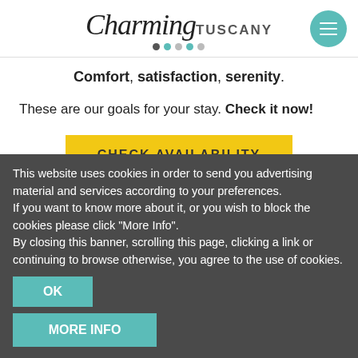Charming TUSCANY
Comfort, satisfaction, serenity.
These are our goals for your stay. Check it now!
CHECK AVAILABILITY
HOME
This website uses cookies in order to send you advertising material and services according to your preferences.
If you want to know more about it, or you wish to block the cookies please click "More Info".
By closing this banner, scrolling this page, clicking a link or continuing to browse otherwise, you agree to the use of cookies.
OK
MORE INFO